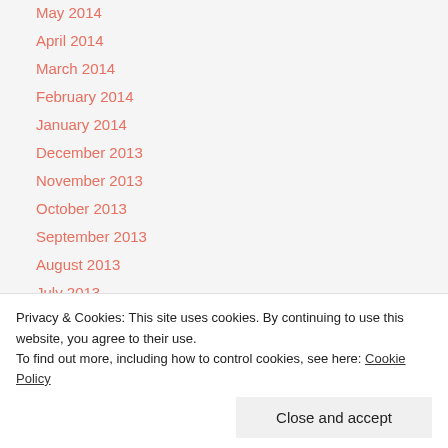May 2014
April 2014
March 2014
February 2014
January 2014
December 2013
November 2013
October 2013
September 2013
August 2013
July 2013
Privacy & Cookies: This site uses cookies. By continuing to use this website, you agree to their use.
To find out more, including how to control cookies, see here: Cookie Policy
Close and accept